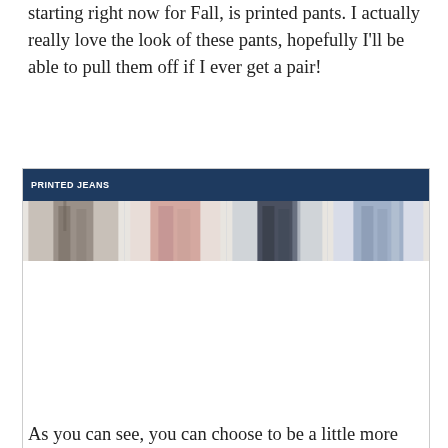starting right now for Fall, is printed pants. I actually really love the look of these pants, hopefully I'll be able to pull them off if I ever get a pair!
[Figure (screenshot): A widget or embedded content box labeled 'PRINTED JEANS' with a dark navy blue header bar and four thumbnail images of models wearing printed/patterned pants below the header.]
As you can see, you can choose to be a little more